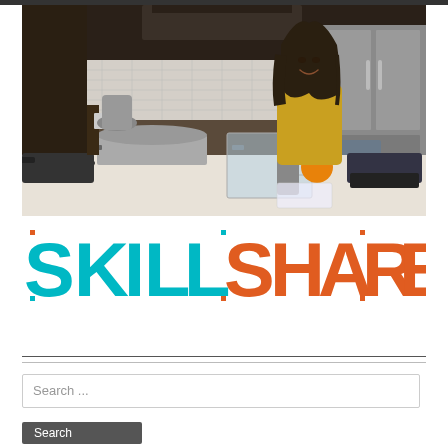[Figure (photo): A woman in a yellow blouse standing at a kitchen counter with cooking equipment including a large pot, a clear container, an orange, a vacuum sealer, and a sous vide circulator. Modern kitchen background with dark cabinets and stainless steel refrigerator.]
[Figure (logo): Skillshare logo in large text. Letters S, K, I, L, L in teal/cyan color; S, H, A, R, E in orange color. Each letter has small colored square dot at corners.]
Search ...